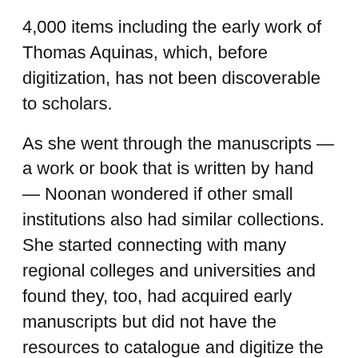4,000 items including the early work of Thomas Aquinas, which, before digitization, has not been discoverable to scholars.
As she went through the manuscripts — a work or book that is written by hand — Noonan wondered if other small institutions also had similar collections. She started connecting with many regional colleges and universities and found they, too, had acquired early manuscripts but did not have the resources to catalogue and digitize the collections.
Written on parchment made of animal skin, the pages of the manuscripts are incredibly durable, but they're not always complete. Otto Ege, an infamous biblioclast, or book breaker, was one of many who divided medieval manuscripts and collections to allow for more people to have original writings. Now, through the digitization